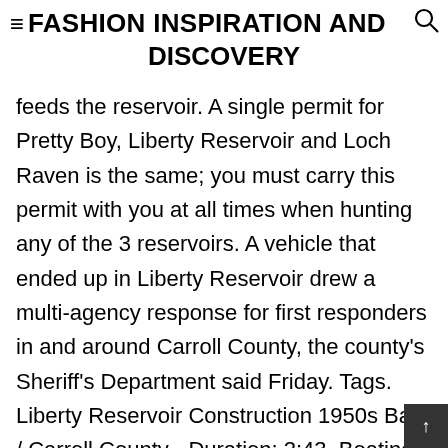FASHION INSPIRATION AND DISCOVERY
feeds the reservoir. A single permit for Pretty Boy, Liberty Reservoir and Loch Raven is the same; you must carry this permit with you at all times when hunting any of the 3 reservoirs. A vehicle that ended up in Liberty Reservoir drew a multi-agency response for first responders in and around Carroll County, the county's Sheriff's Department said Friday. Tags. Liberty Reservoir Construction 1950s Balt / Carroll County - Duration: 2:43. Boating season at Liberty and Prettyboy runs from March 1 through December 31, weather permitting. This 3,100 acre